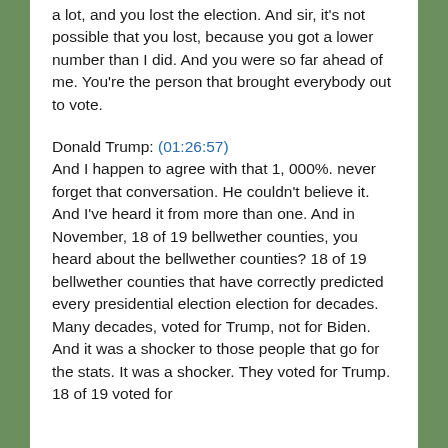a lot, and you lost the election. And sir, it's not possible that you lost, because you got a lower number than I did. And you were so far ahead of me. You're the person that brought everybody out to vote.
Donald Trump: (01:26:57) And I happen to agree with that 1, 000%. never forget that conversation. He couldn't believe it. And I've heard it from more than one. And in November, 18 of 19 bellwether counties, you heard about the bellwether counties? 18 of 19 bellwether counties that have correctly predicted every presidential election election for decades. Many decades, voted for Trump, not for Biden. And it was a shocker to those people that go for the stats. It was a shocker. They voted for Trump. 18 of 19 voted for